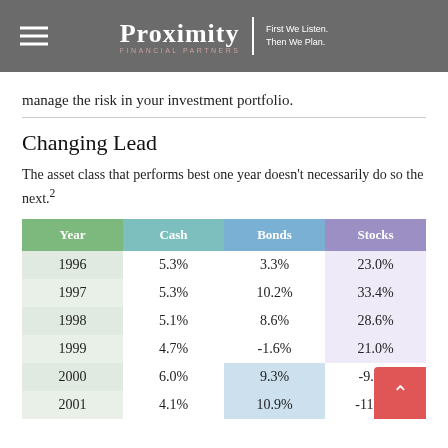Proximity Financial Partners — First We Listen. Then We Plan.
manage the risk in your investment portfolio.
Changing Lead
The asset class that performs best one year doesn't necessarily do so the next.²
| Year | Cash | Bonds | Stocks |
| --- | --- | --- | --- |
| 1996 | 5.3% | 3.3% | 23.0% |
| 1997 | 5.3% | 10.2% | 33.4% |
| 1998 | 5.1% | 8.6% | 28.6% |
| 1999 | 4.7% | -1.6% | 21.0% |
| 2000 | 6.0% | 9.3% | -9.1% |
| 2001 | 4.1% | 10.9% | -11.9% |